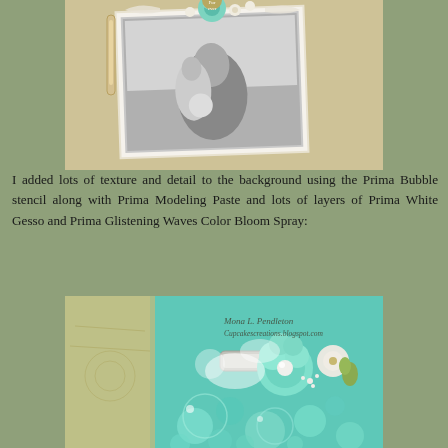[Figure (photo): Black and white wedding photo showing a groom carrying his bride on a beach, with decorative scrapbook elements including flowers, a paper clip, and embellishments on a textured background.]
I added lots of texture and detail to the background using the Prima Bubble stencil along with Prima Modeling Paste and lots of layers of Prima White Gesso and Prima Glistening Waves Color Bloom Spray:
[Figure (photo): Close-up photo of a scrapbook layout showing teal/mint colored bubble texture created with Prima Bubble stencil and Modeling Paste, decorated with Prima flowers including mint and cream colored blooms, with Prima Glistening Waves Color Bloom Spray. Watermark reads 'Mona L. Pendleton Cupcakescreations.blogspot.com'.]